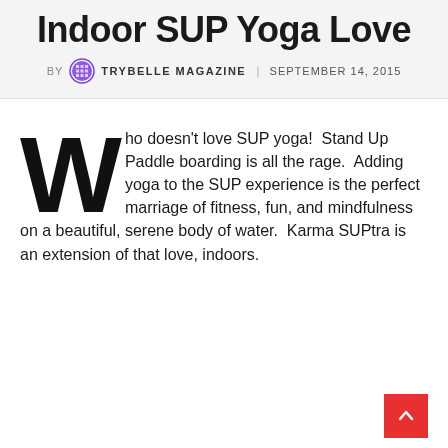Indoor SUP Yoga Love
BY TRYBELLE MAGAZINE | SEPTEMBER 14, 2015
Who doesn't love SUP yoga!  Stand Up Paddle boarding is all the rage.  Adding yoga to the SUP experience is the perfect marriage of fitness, fun, and mindfulness on a beautiful, serene body of water.  Karma SUPtra is an extension of that love, indoors.